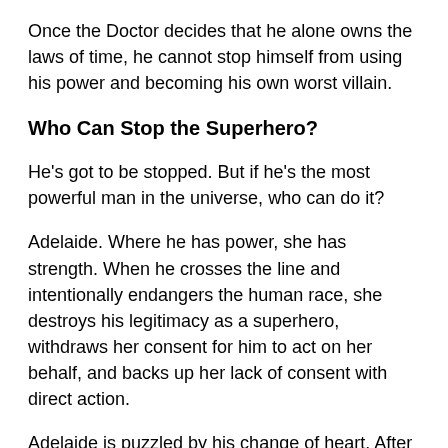Once the Doctor decides that he alone owns the laws of time, he cannot stop himself from using his power and becoming his own worst villain.
Who Can Stop the Superhero?
He's got to be stopped. But if he's the most powerful man in the universe, who can do it?
Adelaide. Where he has power, she has strength. When he crosses the line and intentionally endangers the human race, she destroys his legitimacy as a superhero, withdraws her consent for him to act on her behalf, and backs up her lack of consent with direct action.
Adelaide is puzzled by his change of heart. After the Doctor brings the colonists back to Earth and Mia runs off, Adelaide questions him until she understands his